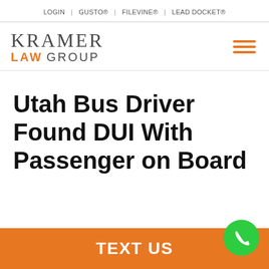LOGIN | GUSTO® | FILEVINE® | LEAD DOCKET®
[Figure (logo): Kramer Law Group logo — 'KRAMER' in serif gray letters above 'LAW GROUP' with 'LAW' in orange bold sans-serif and 'GROUP' in gray sans-serif]
Utah Bus Driver Found DUI With Passenger on Board
TEXT US